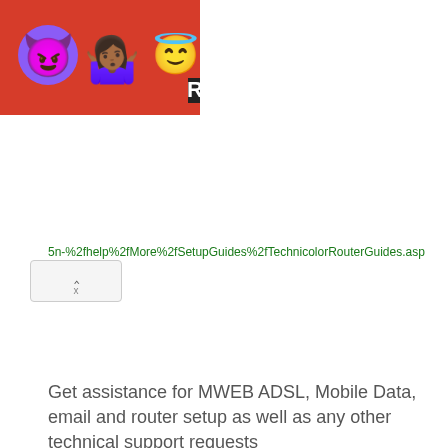[Figure (screenshot): Partial screenshot of a webpage showing emoji characters (devil, woman shrugging, angel emoji) on a red background, partially cropped at the right edge, with a partial letter R visible.]
5n-%2fhelp%2fMore%2fSetupGuides%2fTechnicolorRouterGuides.asp
Get assistance for MWEB ADSL, Mobile Data, email and router setup as well as any other technical support requests